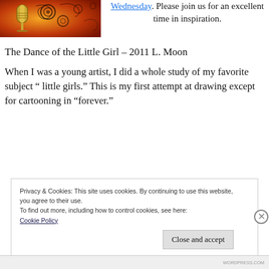[Figure (illustration): Decorative image with a golden microphone and floral/swirl design on a red/orange background]
Wednesday. Please join us for an excellent time in inspiration.
The Dance of the Little Girl – 2011 L. Moon
When I was a young artist, I did a whole study of my favorite subject " little girls." This is my first attempt at drawing except for cartooning in "forever."
Privacy & Cookies: This site uses cookies. By continuing to use this website, you agree to their use.
To find out more, including how to control cookies, see here:
Cookie Policy
Close and accept